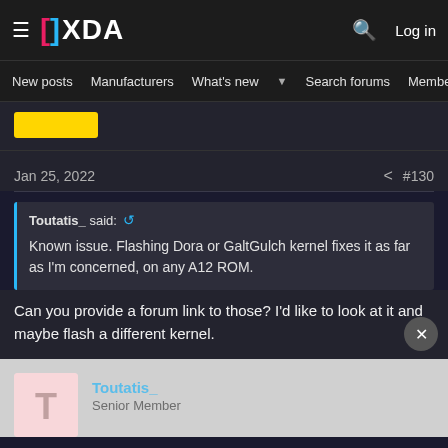XDA Developers — Log in | New posts | Manufacturers | What's new | Search forums | Members
[Figure (screenshot): Yellow button partially visible]
Jan 25, 2022 #130
Toutatis_ said: Known issue. Flashing Dora or GaltGulch kernel fixes it as far as I'm concerned, on any A12 ROM.
Can you provide a forum link to those? I'd like to look at it and maybe flash a different kernel.
[Figure (photo): User avatar placeholder for Toutatis_]
Toutatis_
Senior Member